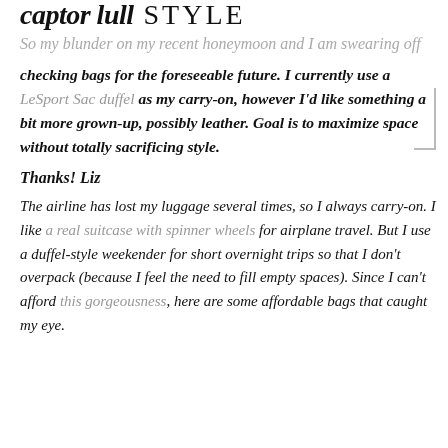captor lull STYLE So my blunder on my recent honeymoon and I am swearing off
checking bags for the foreseeable future. I currently use a LeSport Sac duffel as my carry-on, however I'd like something a bit more grown-up, possibly leather. Goal is to maximize space without totally sacrificing style.
Thanks! Liz
The airline has lost my luggage several times, so I always carry-on. I like a real suitcase with spinner wheels for airplane travel. But I use a duffel-style weekender for short overnight trips so that I don't overpack (because I feel the need to fill empty spaces). Since I can't afford this gorgeousness, here are some affordable bags that caught my eye.